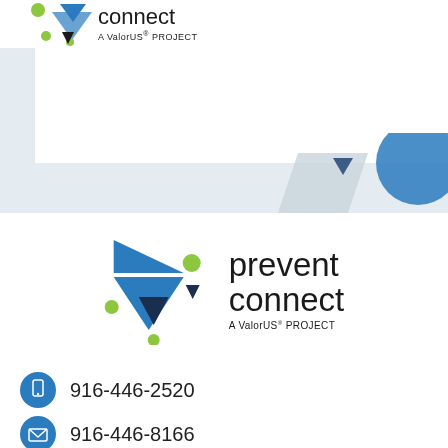[Figure (logo): PreventConnect - A ValorUS PROJECT logo at top (partial, cropped). Blue and green geometric shapes with text.]
[Figure (illustration): Light blue banner area with partial white box and decorative geometric shapes (light gray triangle/trapezoid and blue circle).]
[Figure (logo): PreventConnect - A ValorUS PROJECT logo centered on page. Blue geometric arrow/triangle shapes with green dots, bold text 'prevent connect' and subtitle 'A ValorUS PROJECT'.]
916-446-2520
916-446-8166